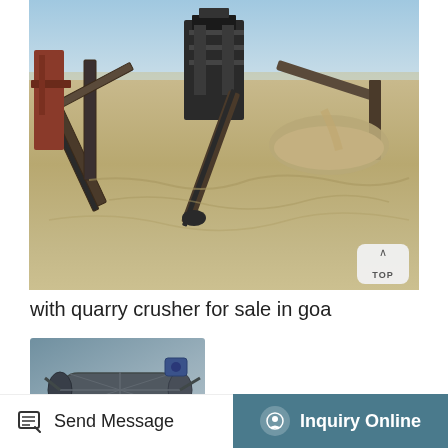[Figure (photo): Quarry crusher machinery with conveyor belts on a sandy outdoor site, showing industrial crushing equipment against a light blue sky with dirt ground in the foreground]
with quarry crusher for sale in goa
[Figure (photo): Close-up of crusher/aggregate screening equipment showing a rotating drum or screening basket over a pile of crushed stone material]
Send Message
Inquiry Online